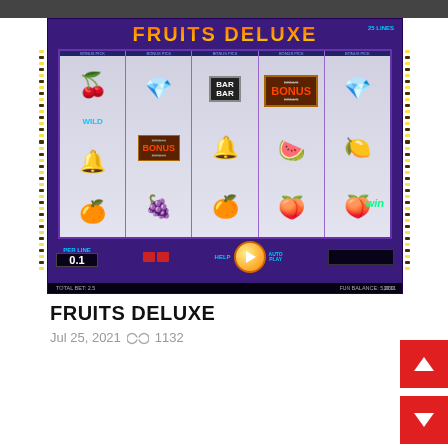[Figure (screenshot): Fruits Deluxe slot machine game screenshot showing 5 reels with fruit symbols (cherries marked WILD, diamonds, BAR BAR, BONUS, bells, watermelon, lemon, orange, grapes, plum). Shows 25 lines, PER LINE 0.1, TOTAL BET: 2.5, BALANCE: 5,000, WIN display, HELP and AUTO PLAY buttons.]
FRUITS DELUXE
Jul 25, 2021   1132